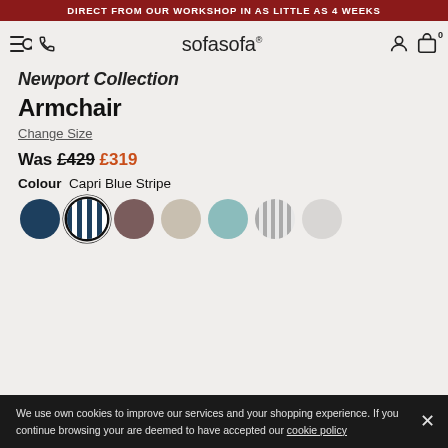DIRECT FROM OUR WORKSHOP IN AS LITTLE AS 4 WEEKS
[Figure (logo): sofasofa logo with navigation icons]
Newport Collection
Armchair
Change Size
Was £429 £319
Colour  Capri Blue Stripe
[Figure (other): Seven colour swatches: dark navy, Capri Blue Stripe (selected), mauve, beige, teal, light stripe, off-white]
We use own cookies to improve our services and your shopping experience. If you continue browsing your are deemed to have accepted our cookie policy